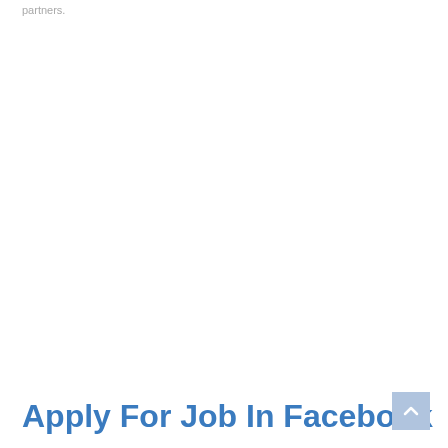partners.
Apply For Job In Facebook